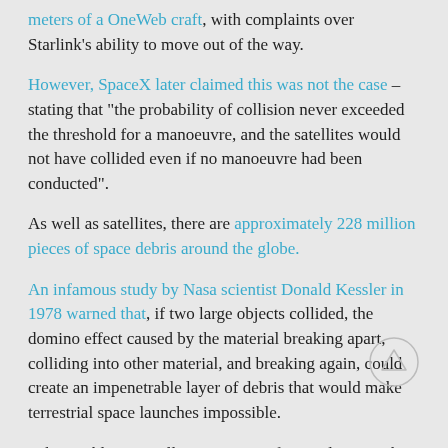meters of a OneWeb craft, with complaints over Starlink's ability to move out of the way.
However, SpaceX later claimed this was not the case – stating that "the probability of collision never exceeded the threshold for a manoeuvre, and the satellites would not have collided even if no manoeuvre had been conducted".
As well as satellites, there are approximately 228 million pieces of space debris around the globe.
An infamous study by Nasa scientist Donald Kessler in 1978 warned that, if two large objects collided, the domino effect caused by the material breaking apart, colliding into other material, and breaking again, could create an impenetrable layer of debris that would make terrestrial space launches impossible.
"This problem is really getting out of control," Siemak